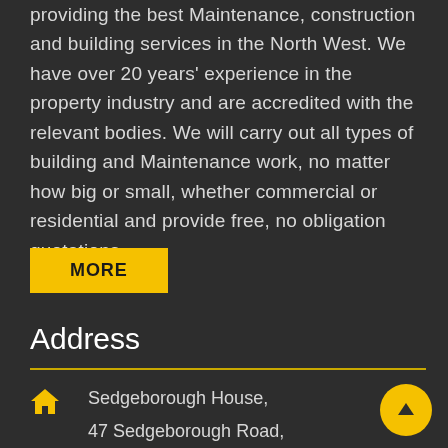providing the best Maintenance, construction and building services in the North West. We have over 20 years' experience in the property industry and are accredited with the relevant bodies. We will carry out all types of building and Maintenance work, no matter how big or small, whether commercial or residential and provide free, no obligation quotations.
MORE
Address
Sedgeborough House, 47 Sedgeborough Road, Manchester, M16 7EU